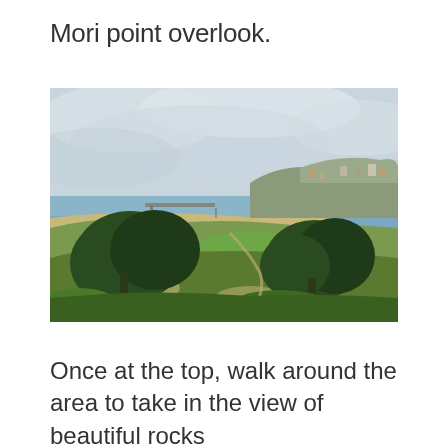Mori point overlook.
[Figure (photo): Aerial landscape view from Mori Point overlook showing coastal scenery with green shrubs and trees in the foreground, a pier extending into the ocean, sandy beach, coastal town with buildings on hillside, and overcast sky.]
Once at the top, walk around the area to take in the view of beautiful rocks